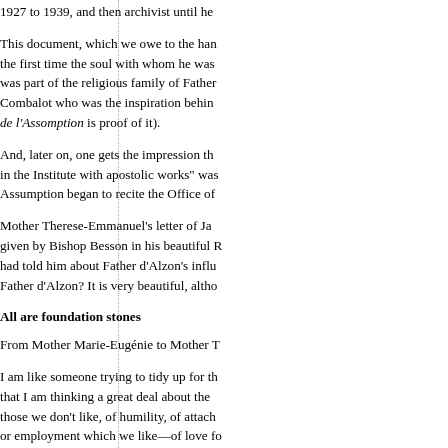1927 to 1939, and then archivist until he...
This document, which we owe to the han... the first time the soul with whom he was... was part of the religious family of Father... Combalot who was the inspiration behin... de l'Assomption is proof of it).
And, later on, one gets the impression th... in the Institute with apostolic works" was... Assumption began to recite the Office of...
Mother Therese-Emmanuel's letter of Ja... given by Bishop Besson in his beautiful R... had told him about Father d'Alzon's influ... Father d'Alzon? It is very beautiful, altho...
All are foundation stones
From Mother Marie-Eugénie to Mother T...
I am like someone trying to tidy up for the... that I am thinking a great deal about the... those we don't like, of humility, of attach... or employment which we like—of love fo... flourish ... . We are all foundation stones... Congregation is lost if they do not have a... they will need to be virtuous, so much so... of growing so rapidly that it would preven...
This week we celebrate the anniversary... back is that none of us thought of foundi... those early days, we never doubted abo... found a work and who had taken us as h...
The spirit of the foundation
Our Congregation has been...